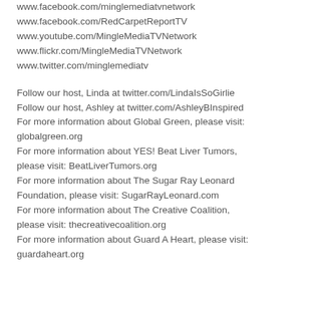www.facebook.com/minglemediatvnetwork
www.facebook.com/RedCarpetReportTV
www.youtube.com/MingleMediaTVNetwork
www.flickr.com/MingleMediaTVNetwork
www.twitter.com/minglemediatv
Follow our host, Linda at twitter.com/LindaIsSoGirlie
Follow our host, Ashley at twitter.com/AshleyBInspired
For more information about Global Green, please visit: globalgreen.org
For more information about YES! Beat Liver Tumors, please visit: BeatLiverTumors.org
For more information about The Sugar Ray Leonard Foundation, please visit: SugarRayLeonard.com
For more information about The Creative Coalition, please visit: thecreativecoalition.org
For more information about Guard A Heart, please visit: guardaheart.org